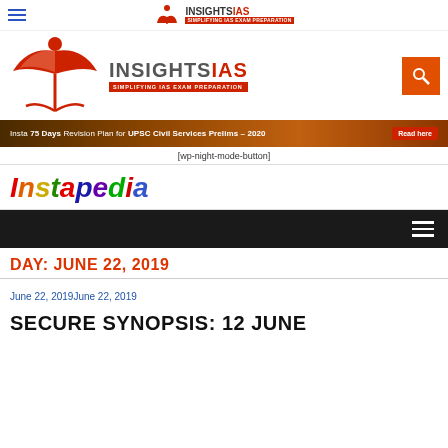[Figure (logo): InsightsIAS logo in top navigation bar - small version with hamburger menu]
[Figure (logo): InsightsIAS main logo with red book/wings icon and text INSIGHTSIAS SIMPLIFYING IAS EXAM PREPARATION, with orange search button]
[Figure (infographic): Dark gradient banner: Insta 75 Days Revision Plan for UPSC Civil Services Prelims - 2020 Read here]
[wp-night-mode-button]
Instapedia
[Figure (other): Dark navigation bar with hamburger menu icon]
DAY: JUNE 22, 2019
June 22, 2019June 22, 2019
SECURE SYNOPSIS: 12 JUNE